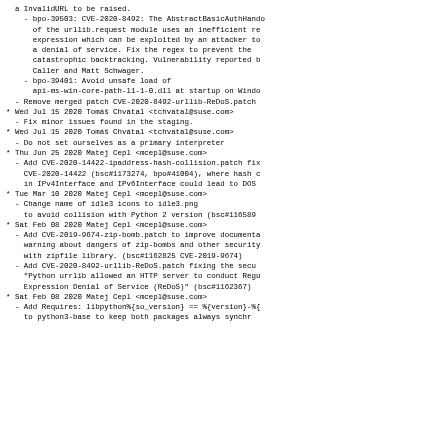a InvalidURL to be raised.
- bpo-39503: CVE-2020-8492: The AbstractBasicAuthHand
      of the urllib.request module uses an inefficient re
      expression which can be exploited by an attacker to
      a denial of service. Fix the regex to prevent the
      catastrophic backtracking. Vulnerability reported b
      Caller and Matt Schwager.
- bpo-39401: Avoid unsafe load of
      api-ms-win-core-path-l1-1-0.dll at startup on Windo
- Remove merged patch CVE-2020-8492-urllib-ReDoS.patch
* Wed Jul 15 2020 Tomáš Chvátal <tchvatal@suse.com>
  - Fix minor issues found in the staging.
* Wed Jul 15 2020 Tomáš Chvátal <tchvatal@suse.com>
  - Do not set ourselves as a primary interpreter
* Thu Jun 25 2020 Matej Cepl <mcepl@suse.com>
  - Add CVE-2020-14422-ipaddress-hash-collision.patch fix
    CVE-2020-14422 (bsc#1173274, bpo#41004), where hash c
    in IPv4Interface and IPv6Interface could lead to DOS
* Tue Mar 10 2020 Matej Cepl <mcepl@suse.com>
  - Change name of idle3 icons to idle3.png
    to avoid collision with Python 2 version (bsc#1165894
* Sat Feb 08 2020 Matej Cepl <mcepl@suse.com>
  - Add CVE-2019-9674-zip-bomb.patch to improve documenta
    warning about dangers of zip-bombs and other security
    with zipfile library. (bsc#1162825 CVE-2019-9674)
  - Add CVE-2020-8492-urllib-ReDoS.patch fixing the secu
    "Python urrlib allowed an HTTP server to conduct Regu
    Expression Denial of Service (ReDoS)" (bsc#1162367)
* Sat Feb 08 2020 Matej Cepl <mcepl@suse.com>
  - Add Requires: libpython%{so_version} == %{version}-%{
    to python3-base to keep both packages always synchro